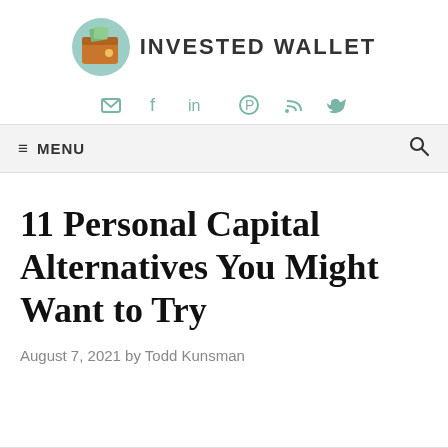[Figure (logo): Invested Wallet logo: brown wallet with green background circle and green money bills, next to bold text INVESTED WALLET]
[Figure (other): Social media icons row: email, facebook, linkedin, pinterest, rss, twitter in teal/green color]
≡ MENU
11 Personal Capital Alternatives You Might Want to Try
August 7, 2021 by Todd Kunsman